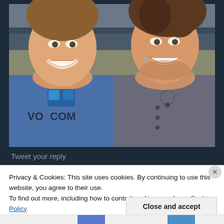[Figure (photo): Two smiling young men posing for a photo together. The man on the left wears a blue Volcom t-shirt with sunglasses clipped to it. The man on the right wears a grey henley shirt with a necklace. Both are smiling broadly.]
Tweet your reply
Privacy & Cookies: This site uses cookies. By continuing to use this website, you agree to their use.
To find out more, including how to control cookies, see here: Cookie Policy
Close and accept